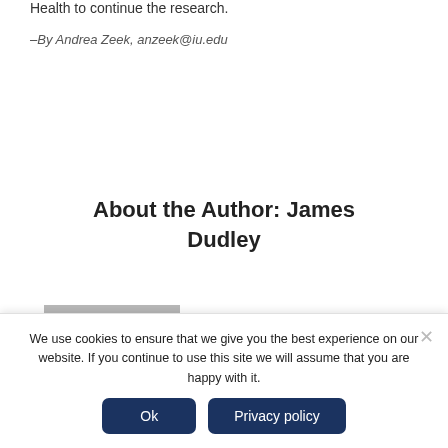Health to continue the research.
–By Andrea Zeek, anzeek@iu.edu
About the Author: James Dudley
[Figure (photo): Grey placeholder avatar image showing a person silhouette]
We use cookies to ensure that we give you the best experience on our website. If you continue to use this site we will assume that you are happy with it.